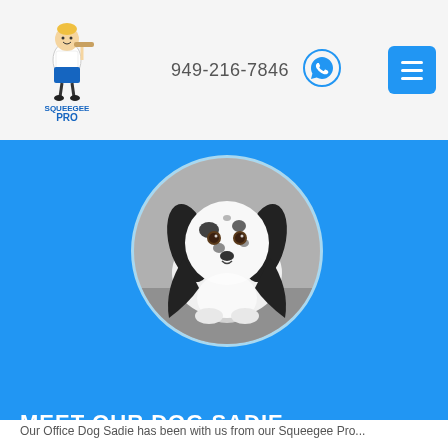[Figure (logo): Squeegee Pro logo: cartoon person holding a tray with text SQUEEGEE PRO]
949-216-7846
[Figure (illustration): WhatsApp phone icon in blue circle]
[Figure (illustration): Blue hamburger menu button with three white horizontal lines]
[Figure (photo): Circular photo of a black and white spotted dog (Sadie) on a blue background]
MEET OUR DOG SADIE
Our Office Dog Sadie has been with us from our Squeegee Pro...